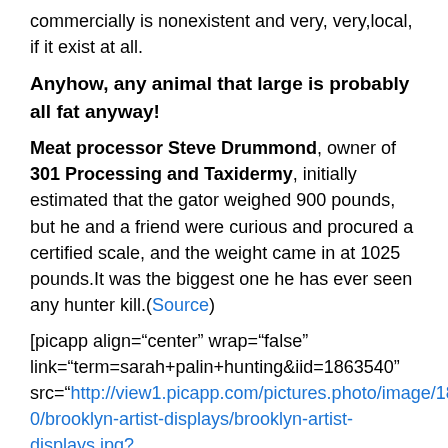commercially is nonexistent and very, very,local, if it exist at all.
Anyhow, any animal that large is probably all fat anyway!
Meat processor Steve Drummond, owner of 301 Processing and Taxidermy, initially estimated that the gator weighed 900 pounds, but he and a friend were curious and procured a certified scale, and the weight came in at 1025 pounds.It was the biggest one he has ever seen any hunter kill.(Source)
[picapp align="center" wrap="false" link="term=sarah+palin+hunting&iid=1863540" src="http://view1.picapp.com/pictures.photo/image/1863540/brooklyn-artist-displays/brooklyn-artist-displays.jpg? size=500&imageid=1863540/#8343;width"334"